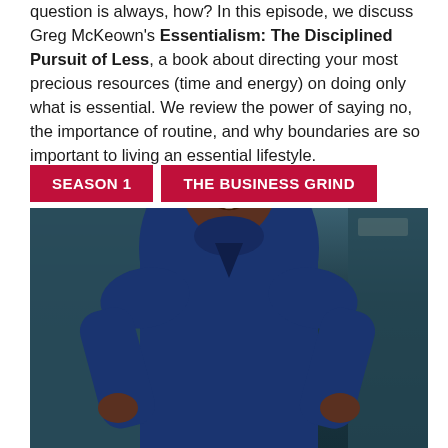question is always, how? In this episode, we discuss Greg McKeown's Essentialism: The Disciplined Pursuit of Less, a book about directing your most precious resources (time and energy) on doing only what is essential. We review the power of saying no, the importance of routine, and why boundaries are so important to living an essential lifestyle.
[Figure (photo): A smiling woman with short auburn hair wearing a navy blue turtleneck top, posed confidently with hands on hips against a building exterior background. Two crimson badge labels overlay the top: 'SEASON 1' and 'THE BUSINESS GRIND'.]